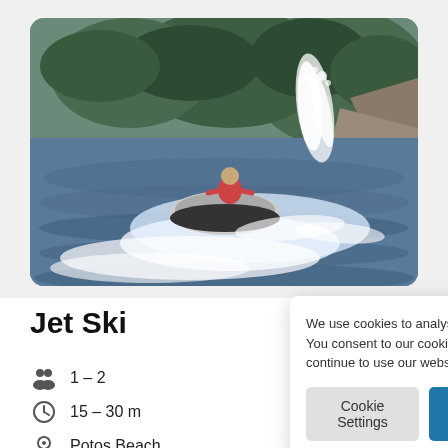[Figure (photo): Person riding a jet ski on the sea, with a water spray in the background and rocky tree-covered hills. The jet ski is white/dark colored and the rider wears a red life vest.]
Jet Ski
1 – 2 (capacity/people)
15 – 30 min (duration)
Potos Beach (location)
We use cookies to analyse our traffic. You consent to our cookies if you continue to use our website.
Cookie Settings
Accept